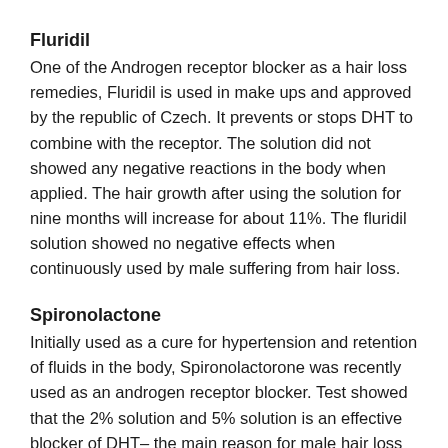Fluridil
One of the Androgen receptor blocker as a hair loss remedies, Fluridil is used in make ups and approved by the republic of Czech. It prevents or stops DHT to combine with the receptor. The solution did not showed any negative reactions in the body when applied. The hair growth after using the solution for nine months will increase for about 11%. The fluridil solution showed no negative effects when continuously used by male suffering from hair loss.
Spironolactone
Initially used as a cure for hypertension and retention of fluids in the body, Spironolactorone was recently used as an androgen receptor blocker. Test showed that the 2% solution and 5% solution is an effective blocker of DHT– the main reason for male hair loss—and other androgens that could affect the follicles in the scalp. It is applied through spreading in the affected areas and considered as steroid that reduces